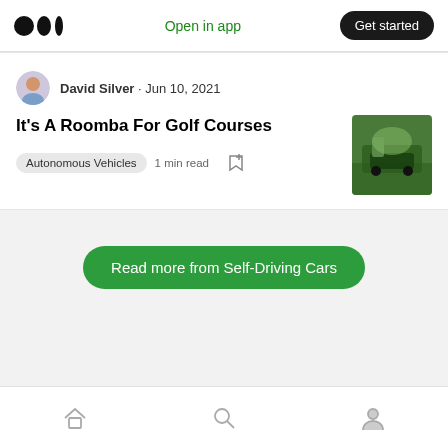Medium logo · Open in app · Get started
David Silver · Jun 10, 2021
It's A Roomba For Golf Courses
Autonomous Vehicles   1 min read
[Figure (photo): Thumbnail photo of autonomous golf course mowing vehicle on green grass]
Read more from Self-Driving Cars
Home · Search · Profile navigation icons